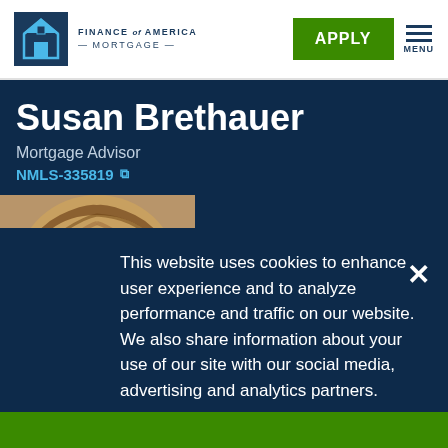FINANCE of AMERICA — MORTGAGE —
Susan Brethauer
Mortgage Advisor
NMLS-335819
[Figure (photo): Photo of Susan Brethauer showing top of head with blonde/brown hair]
MY OFFICE
This website uses cookies to enhance user experience and to analyze performance and traffic on our website. We also share information about your use of our site with our social media, advertising and analytics partners.